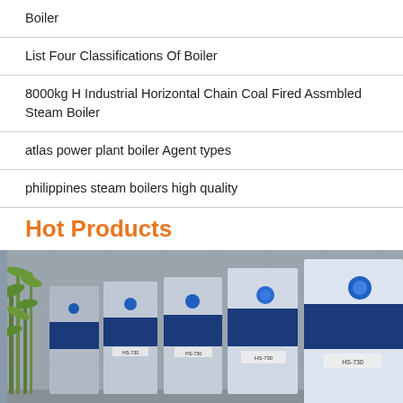Boiler
List Four Classifications Of Boiler
8000kg H Industrial Horizontal Chain Coal Fired Assmbled Steam Boiler
atlas power plant boiler Agent types
philippines steam boilers high quality
Hot Products
[Figure (photo): Row of blue and white industrial boiler units (labeled HS-730) displayed outdoors against a gray stone wall background with bamboo plants on the left side.]